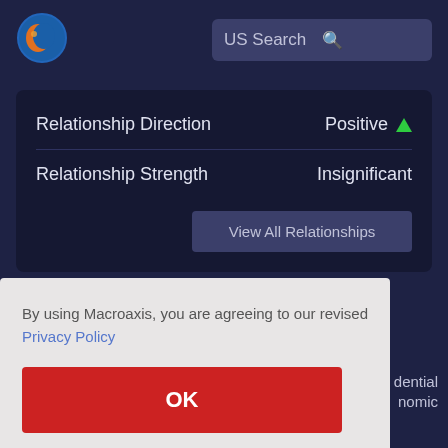[Figure (logo): Macroaxis globe logo — blue circle with orange crescent shape]
US Search
|  |  |
| --- | --- |
| Relationship Direction | Positive ▲ |
| Relationship Strength | Insignificant |
View All Relationships
By using Macroaxis, you are agreeing to our revised Privacy Policy
OK
dential
nomic
value and are expended over time to create a benefit for